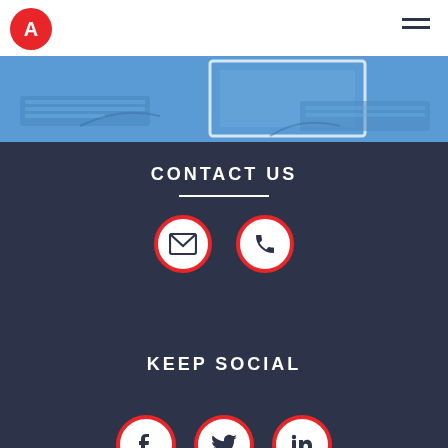[Figure (logo): Red circular logo with white letter A]
[Figure (photo): Blue tinted desktop/office photo strip with monitor outline]
CONTACT US
[Figure (infographic): Two white circles with red borders: envelope icon and phone icon]
KEEP SOCIAL
[Figure (infographic): Three white circles with red borders: Facebook, Twitter, LinkedIn icons]